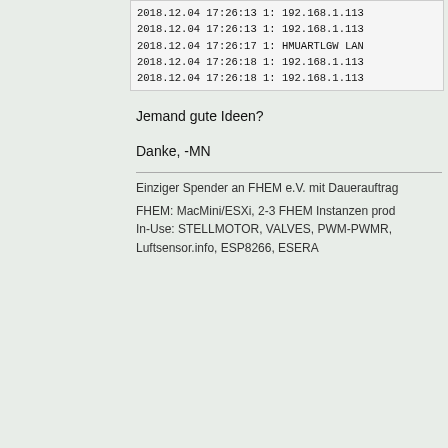[Figure (screenshot): Log output code block showing timestamps and IP addresses: 2018.12.04 17:26:13 lines with 192.168.1.113, 17:26:17 HMUARTLGW LAN, 17:26:18 lines]
Jemand gute Ideen?
Danke, -MN
Einziger Spender an FHEM e.V. mit Dauerauftrag
FHEM: MacMini/ESXi, 2-3 FHEM Instanzen prod
In-Use: STELLMOTOR, VALVES, PWM-PWMR,
Luftsensor.info, ESP8266, ESERA
PeMue
Developer
Hero Member
Antw:(amunra)-Platine für HM-MOD-UART-RPI mit USR-TCP232-T(2) / ESP8266 / USB
« Antwort #67 am: 04 Dezember 2018, 17:49:04
Hallo Morgennebel,
Du holst die Versorgungsspannung aus d
kommen die 3,3 V? Aus dem Spannungs